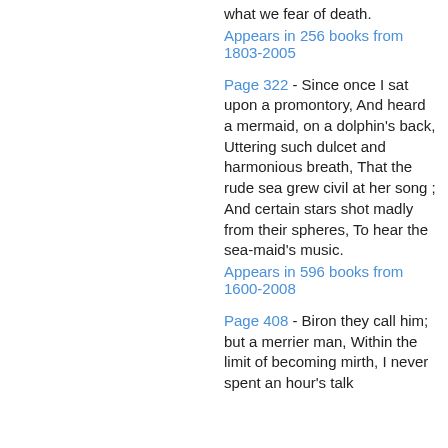what we fear of death.
Appears in 256 books from 1803-2005
Page 322 - Since once I sat upon a promontory, And heard a mermaid, on a dolphin's back, Uttering such dulcet and harmonious breath, That the rude sea grew civil at her song ; And certain stars shot madly from their spheres, To hear the sea-maid's music.
Appears in 596 books from 1600-2008
Page 408 - Biron they call him; but a merrier man, Within the limit of becoming mirth, I never spent an hour's talk